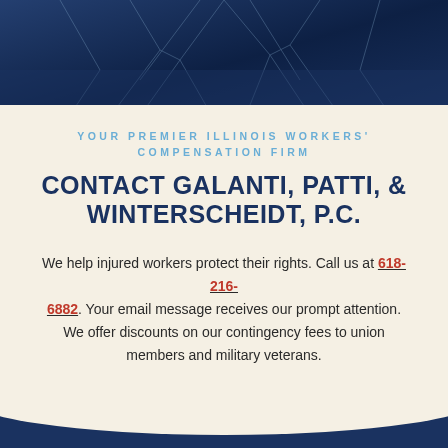[Figure (photo): Dark blue background with cracked glass texture at the top of the page]
YOUR PREMIER ILLINOIS WORKERS' COMPENSATION FIRM
CONTACT GALANTI, PATTI, & WINTERSCHEIDT, P.C.
We help injured workers protect their rights. Call us at 618-216-6882. Your email message receives our prompt attention. We offer discounts on our contingency fees to union members and military veterans.